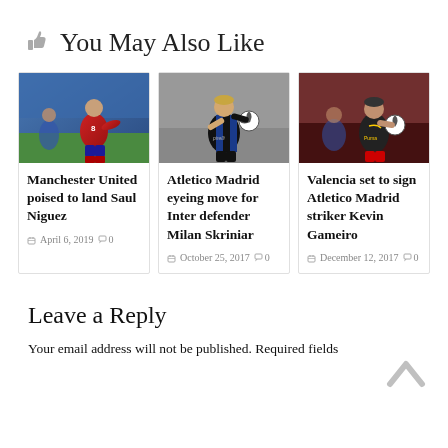👍 You May Also Like
[Figure (photo): Soccer player in red Spain jersey dribbling on field]
Manchester United poised to land Saul Niguez
April 6, 2019  0
[Figure (photo): Inter Milan player in black and blue jersey with ball]
Atletico Madrid eyeing move for Inter defender Milan Skriniar
October 25, 2017  0
[Figure (photo): Atletico Madrid striker in dark jersey with ball]
Valencia set to sign Atletico Madrid striker Kevin Gameiro
December 12, 2017  0
Leave a Reply
Your email address will not be published. Required fields